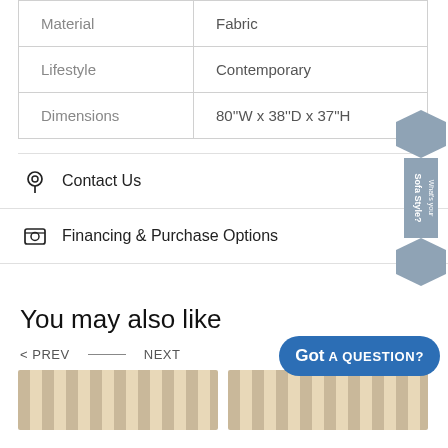| Material | Fabric |
| Lifestyle | Contemporary |
| Dimensions | 80''W x 38''D x 37"H |
Contact Us
Financing & Purchase Options
You may also like
< PREV — NEXT